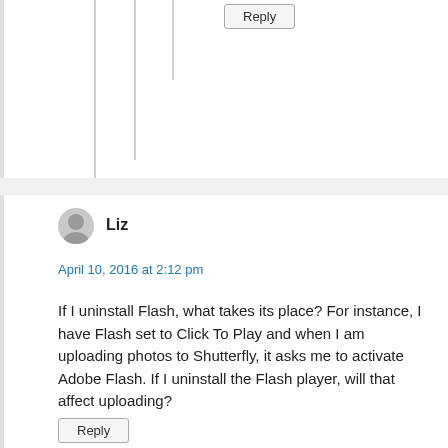Reply
Liz
April 10, 2016 at 2:12 pm
If I uninstall Flash, what takes its place? For instance, I have Flash set to Click To Play and when I am uploading photos to Shutterfly, it asks me to activate Adobe Flash. If I uninstall the Flash player, will that affect uploading?